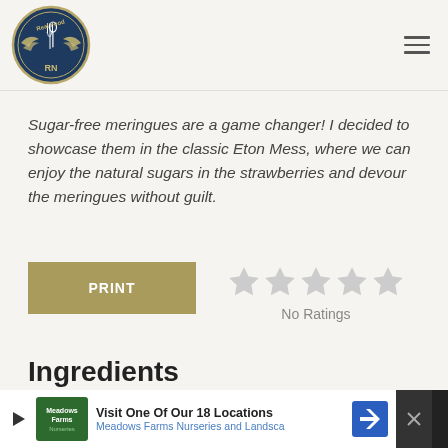[Figure (logo): Real Food RN circular logo with fork and wings emblem on dark navy background]
Sugar-free meringues are a game changer! I decided to showcase them in the classic Eton Mess, where we can enjoy the natural sugars in the strawberries and devour the meringues without guilt.
PRINT
No Ratings
Ingredients
For the meringues (makes 40-45 mini meringues):
[Figure (screenshot): Advertisement banner: Visit One Of Our 18 Locations - Meadows Farms Nurseries and Landscape]